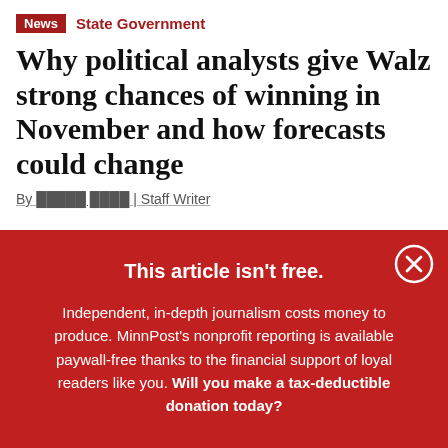News | State Government
Why political analysts give Walz strong chances of winning in November and how forecasts could change
By [author name] | Staff Writer
This article isn't free.
Independent, in-depth journalism costs money to produce. MinnPost's nonprofit reporting is available paywall-free thanks to the financial support of loyal readers like you. Will you make a tax-deductible donation today?
DONATE NOW